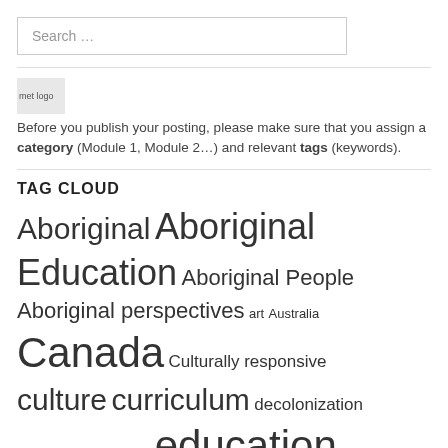Search …
[Figure (logo): met logo — small broken image icon with alt text 'met logo']
Before you publish your posting, please make sure that you assign a category (Module 1, Module 2…) and relevant tags (keywords).
TAG CLOUD
Aboriginal Aboriginal Education Aboriginal People Aboriginal perspectives art Australia Canada Culturally responsive culture curriculum decolonization Digital storytelling education First Nations First …